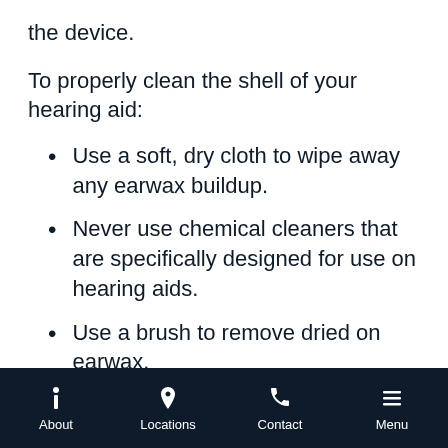the device.
To properly clean the shell of your hearing aid:
Use a soft, dry cloth to wipe away any earwax buildup.
Never use chemical cleaners that are specifically designed for use on hearing aids.
Use a brush to remove dried on earwax.
About  Locations  Contact  Menu